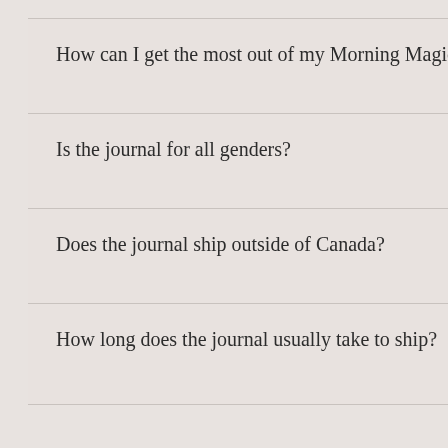How can I get the most out of my Morning Magic routine?
Is the journal for all genders?
Does the journal ship outside of Canada?
How long does the journal usually take to ship?